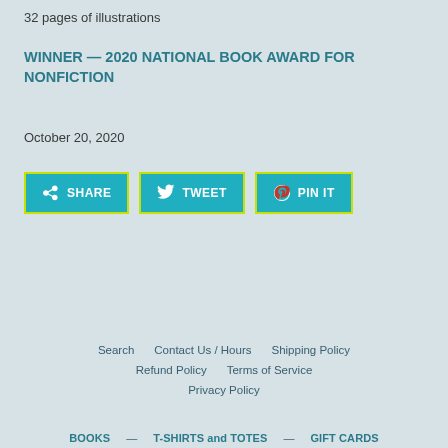32 pages of illustrations
WINNER — 2020 NATIONAL BOOK AWARD FOR NONFICTION
October 20, 2020
[Figure (other): Social share buttons: SHARE (Facebook), TWEET (Twitter), PIN IT (Pinterest)]
Search   Contact Us / Hours   Shipping Policy   Refund Policy   Terms of Service   Privacy Policy
BOOKS — T-SHIRTS and TOTES — GIFT CARDS